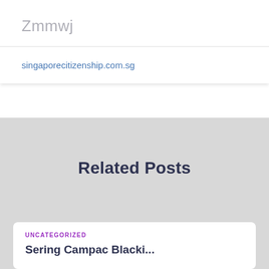Zmmwj
singaporecitizenship.com.sg
Related Posts
UNCATEGORIZED
Sering Campac Blacki...